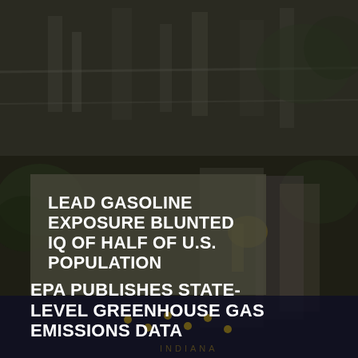[Figure (photo): Top section showing industrial/plant facility with pipes and structures, dark overlay, grayscale tinted]
LEAD GASOLINE EXPOSURE BLUNTED IQ OF HALF OF U.S. POPULATION
[Figure (photo): Background showing gas pump nozzles and vegetation, dark tinted. Lower portion shows Indiana state flag with stars.]
EPA PUBLISHES STATE-LEVEL GREENHOUSE GAS EMISSIONS DATA